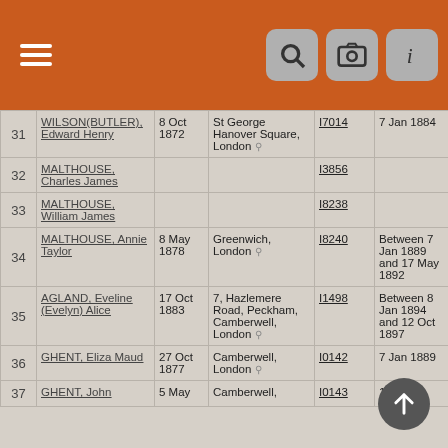[Figure (screenshot): Mobile app header bar with hamburger menu icon on the left and search, camera, and info icon buttons on the right, orange background]
| # | Name | Date | Place | ID | Date2 | ... |
| --- | --- | --- | --- | --- | --- | --- |
| 31 | WILSON(BUTLER), Edward Henry | 8 Oct 1872 | St George Hanover Square, London | I7014 | 7 Jan 1884 | Le... So... Sc... Lo... |
| 32 | MALTHOUSE, Charles James |  |  | I3856 |  |  |
| 33 | MALTHOUSE, William James |  |  | I8238 |  |  |
| 34 | MALTHOUSE, Annie Taylor | 8 May 1878 | Greenwich, London | I8240 | Between 7 Jan 1889 and 17 May 1892 | Lu... So... Le... Lo... |
| 35 | AGLAND, Eveline (Evelyn) Alice | 17 Oct 1883 | 7, Hazlemere Road, Peckham, Camberwell, London | I1498 | Between 8 Jan 1894 and 12 Oct 1897 | Ma... Pe... Lo... |
| 36 | GHENT, Eliza Maud | 27 Oct 1877 | Camberwell, London | I0142 | 7 Jan 1889 | Ma... So... |
| 37 | GHENT, John | 5 May | Camberwell, | I0143 | 1889 | So... |